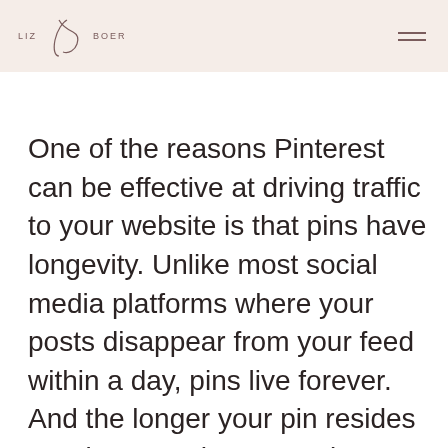LIZ BOER
One of the reasons Pinterest can be effective at driving traffic to your website is that pins have longevity. Unlike most social media platforms where your posts disappear from your feed within a day, pins live forever. And the longer your pin resides on Pinterest, the more Pinterest can learn about that pin in order to serve it up in the right search results.